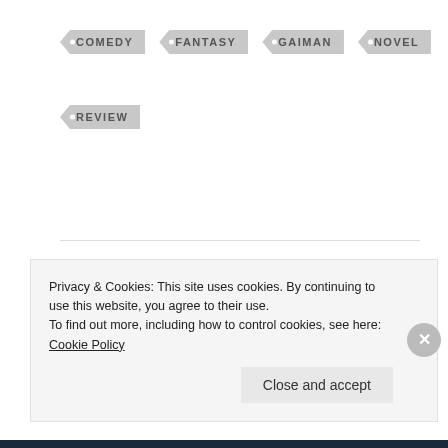COMEDY
FANTASY
GAIMAN
NOVEL
REVIEW
← 5 Queer Podcasts That Will Inspire You
Mini Review: Discworld 1-5 →
Privacy & Cookies: This site uses cookies. By continuing to use this website, you agree to their use.
To find out more, including how to control cookies, see here: Cookie Policy
Close and accept